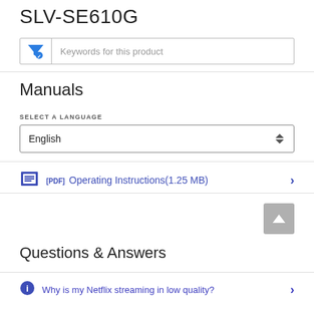SLV-SE610G
[Figure (screenshot): Search filter input box with blue funnel/checkmark icon and placeholder text 'Keywords for this product']
Manuals
SELECT A LANGUAGE
[Figure (screenshot): Language dropdown selector showing 'English' with up/down arrow icons]
[PDF] Operating Instructions(1.25 MB)
Questions & Answers
Why is my Netflix streaming in low quality?